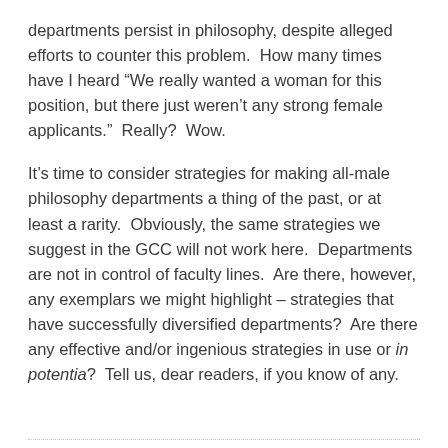departments persist in philosophy, despite alleged efforts to counter this problem.  How many times have I heard “We really wanted a woman for this position, but there just weren’t any strong female applicants.”  Really?  Wow.
It’s time to consider strategies for making all-male philosophy departments a thing of the past, or at least a rarity.  Obviously, the same strategies we suggest in the GCC will not work here.  Departments are not in control of faculty lines.  Are there, however, any exemplars we might highlight – strategies that have successfully diversified departments?  Are there any effective and/or ingenious strategies in use or in potentia?  Tell us, dear readers, if you know of any.